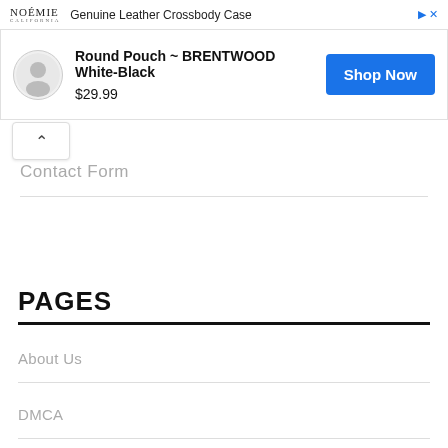[Figure (screenshot): Advertisement banner for NOÉMIE California - Genuine Leather Crossbody Case]
[Figure (screenshot): Ad card showing Round Pouch ~ BRENTWOOD White-Black for $29.99 with Shop Now button]
Contact Form
PAGES
About Us
DMCA